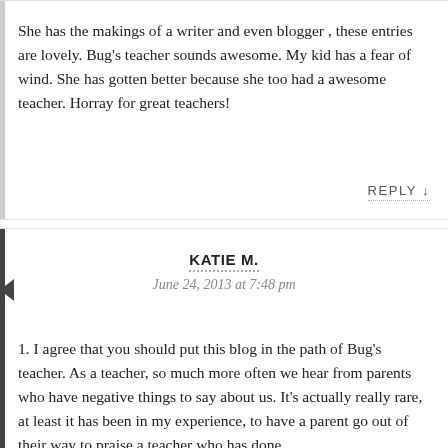She has the makings of a writer and even blogger , these entries are lovely. Bug's teacher sounds awesome. My kid has a fear of wind. She has gotten better because she too had a awesome teacher. Horray for great teachers!
REPLY ↓
KATIE M.
June 24, 2013 at 7:48 pm
1. I agree that you should put this blog in the path of Bug's teacher. As a teacher, so much more often we hear from parents who have negative things to say about us. It's actually really rare, at least it has been in my experience, to have a parent go out of their way to praise a teacher who has done